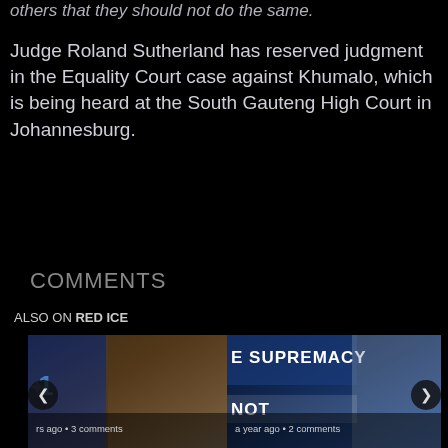others that they should not do the same.
Judge Roland Sutherland has reserved judgment in the Equality Court case against Khumalo, which is being heard at the South Gauteng High Court in Johannesburg.
COMMENTS
ALSO ON RED ICE
[Figure (screenshot): Two thumbnail images side by side showing related articles. Left card shows a medieval or fantasy scene with text 'rs ago • 3 comments'. Right card shows a blue tech/news background with text 'E SUPREMACY' and 'NOT' and 'a year ago • 2 comments'.]